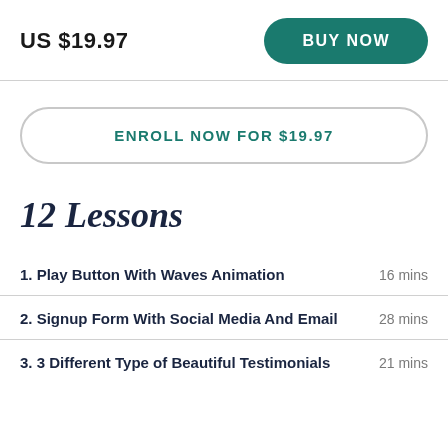US $19.97
BUY NOW
ENROLL NOW FOR $19.97
12 Lessons
1. Play Button With Waves Animation   16 mins
2. Signup Form With Social Media And Email   28 mins
3. 3 Different Type of Beautiful Testimonials   21 mins